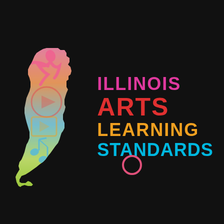[Figure (logo): Illinois Arts Learning Standards logo: colorful silhouette of Illinois state map with arts icons (dancer, music notes, theater masks, film play button) in pink, orange, blue, green gradient, alongside bold text 'ILLINOIS ARTS LEARNING STANDARDS' in pink, red, orange, and cyan on black background]